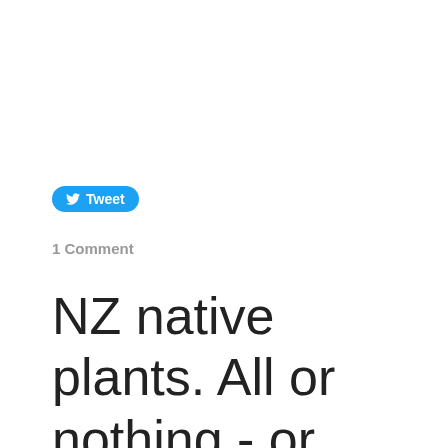[Figure (other): Tweet button with Twitter bird icon]
1 Comment
NZ native plants. All or nothing - or some of each?